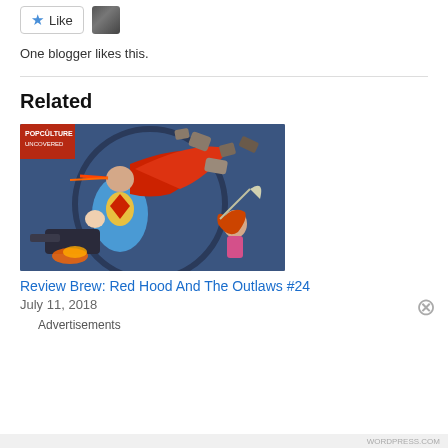[Figure (other): Like button with star icon and user avatar]
One blogger likes this.
Related
[Figure (illustration): Comic book cover art for Red Hood And The Outlaws #24, showing a Superman-like figure in blue suit with red cape, and a woman with red hair holding a weapon, against a debris-filled background. PopCulture Uncovered logo in top left corner.]
Review Brew: Red Hood And The Outlaws #24
July 11, 2018
Advertisements
[Figure (screenshot): DuckDuckGo advertisement banner: 'Search, browse, and email with more privacy. All in One Free App' with DuckDuckGo logo on dark background.]